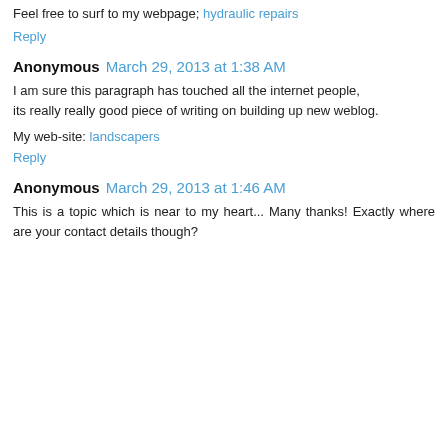Feel free to surf to my webpage; hydraulic repairs
Reply
Anonymous March 29, 2013 at 1:38 AM
I am sure this paragraph has touched all the internet people,
its really really good piece of writing on building up new weblog.
My web-site: landscapers
Reply
Anonymous March 29, 2013 at 1:46 AM
This is a topic which is near to my heart... Many thanks! Exactly where are your contact details though?